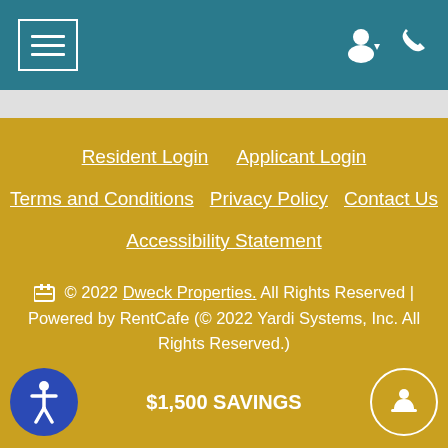Navigation header with menu icon and user/phone icons
Resident Login   Applicant Login
Terms and Conditions   Privacy Policy   Contact Us
Accessibility Statement
© 2022 Dweck Properties. All Rights Reserved | Powered by RentCafe (© 2022 Yardi Systems, Inc. All Rights Reserved.)
$1,500 SAVINGS